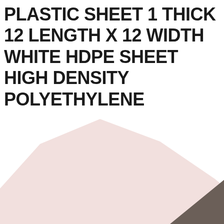PLASTIC SHEET 1 THICK 12 LENGTH X 12 WIDTH WHITE HDPE SHEET HIGH DENSITY POLYETHYLENE
[Figure (illustration): Decorative abstract background shapes: a large soft pink/blush mountain-like shape on the left and a dark brownish-grey triangle shape on the lower right.]